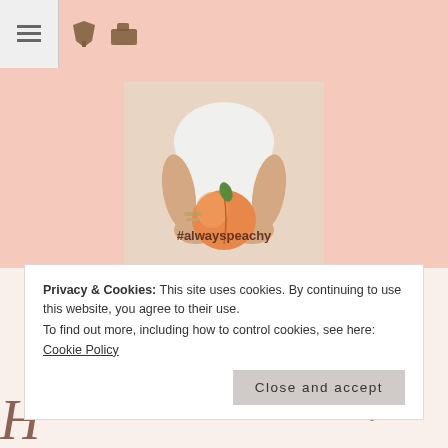≡ 📌 📁
[Figure (photo): Square photo of a person in a white dress holding a peach behind their back, with text '#alwayspeachy' overlaid on the image]
ALWAYS PEACHY
everyday devotions on life, family and faith
Privacy & Cookies: This site uses cookies. By continuing to use this website, you agree to their use.
To find out more, including how to control cookies, see here: Cookie Policy
[Close and accept]